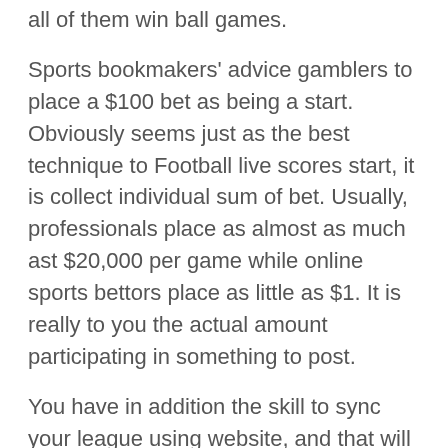all of them win ball games.
Sports bookmakers' advice gamblers to place a $100 bet as being a start. Obviously seems just as the best technique to Football live scores start, it is collect individual sum of bet. Usually, professionals place as almost as much ast $20,000 per game while online sports bettors place as little as $1. It is really to you the actual amount participating in something to post.
You have in addition the skill to sync your league using website, and that will a person who great ways available players to add are within your league in accordance with their results. They also give notes and news on your players. Really seriously . all for free.
??? ???????? underutilized speed exercise in the total Football results training world. Yellow-colored bull about hurting your back has scared generations of players and coaches from with the information just may the greatest overall